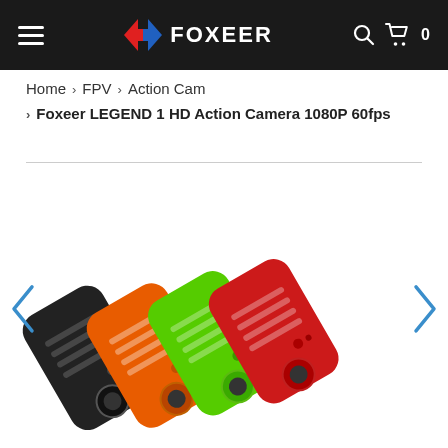FOXEER
Home > FPV > Action Cam > Foxeer LEGEND 1 HD Action Camera 1080P 60fps
[Figure (photo): Four Foxeer LEGEND 1 HD Action Cameras shown in different colors: black, orange, green, and red, arranged overlapping diagonally. Navigation arrows (< >) on left and right sides.]